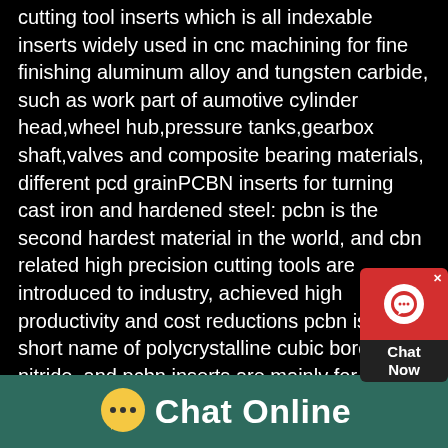cutting tool inserts which is all indexable inserts widely used in cnc machining for fine finishing aluminum alloy and tungsten carbide, such as work part of aumotive cylinder head,wheel hub,pressure tanks,gearbox shaft,valves and composite bearing materials, different pcd grainPCBN inserts for turning cast iron and hardened steel: pcbn is the second hardest material in the world, and cbn related high precision cutting tools are introduced to industry, achieved high productivity and cost reductions pcbn is the short name of polycrystalline cubic boron nitride, and pcbn inserts are mainly for the hard metal turning to replace the conventional machining waypcbn inserts in solid cbn and tipped cbn for hard turningtipped pcbn inserts in 80 degree diamond shape C for hard turning
[Figure (other): Red chat widget with headset icon and 'Chat Now' label overlaid on right side of page]
[Figure (other): Teal footer bar with yellow speech bubble icon and 'Chat Online' text in white]